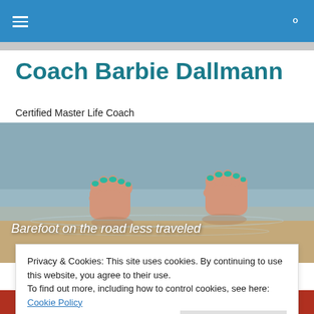Coach Barbie Dallmann – navigation bar with hamburger menu and search icon
Coach Barbie Dallmann
Certified Master Life Coach
[Figure (photo): Bare feet with teal nail polish standing in shallow water on sandy ground, with the text overlay 'Barefoot on the road less traveled']
Privacy & Cookies: This site uses cookies. By continuing to use this website, you agree to their use.
To find out more, including how to control cookies, see here: Cookie Policy
Close and accept
[Figure (photo): Partial view of a red image strip at the bottom of the page]